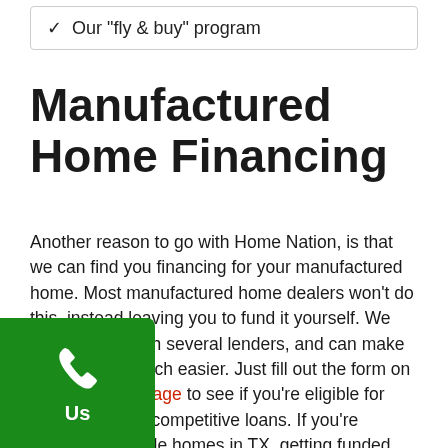✓ Our "fly & buy" program
Manufactured Home Financing
Another reason to go with Home Nation, is that we can find you financing for your manufactured home. Most manufactured home dealers won't do this, instead leaving you to fund it yourself. We work closely with several lenders, and can make that process much easier. Just fill out the form on our Financing Page to see if you're eligible for one of our very competitive loans. If you're looking for mobile homes in TX, getting funded shouldn't be the obstacle between you and a new home, we can often help buyers, even with low credit scores.
[Figure (other): Green phone button with phone icon and label 'Us']